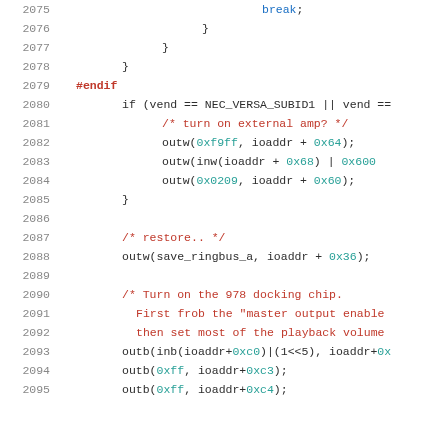Source code listing, lines 2075-2095, C code with syntax highlighting